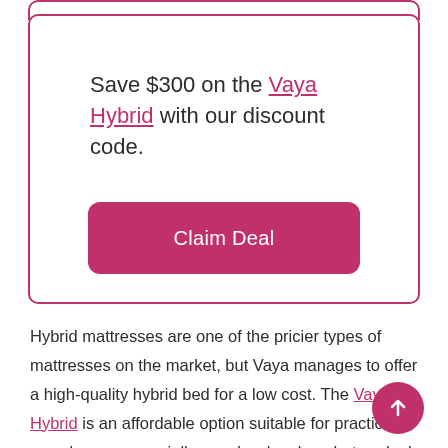Save $300 on the Vaya Hybrid with our discount code.
Claim Deal
Hybrid mattresses are one of the pricier types of mattresses on the market, but Vaya manages to offer a high-quality hybrid bed for a low cost. The Vaya Hybrid is an affordable option suitable for practically any sleeper, especially people who sleep hot or deal with